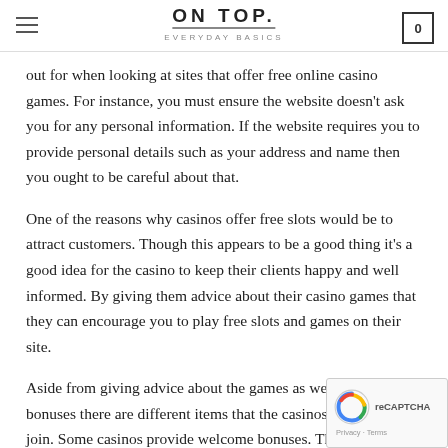ON TOP. EVERYDAY BASICS
out for when looking at sites that offer free online casino games. For instance, you must ensure the website doesn't ask you for any personal information. If the website requires you to provide personal details such as your address and name then you ought to be careful about that.
One of the reasons why casinos offer free slots would be to attract customers. Though this appears to be a good thing it's a good idea for the casino to keep their clients happy and well informed. By giving them advice about their casino games that they can encourage you to play free slots and games on their site.
Aside from giving advice about the games as well as the bonuses there are different items that the casinos offer to you to join. Some casinos provide welcome bonuses. The bonuses can be used to spin the free games on their website.